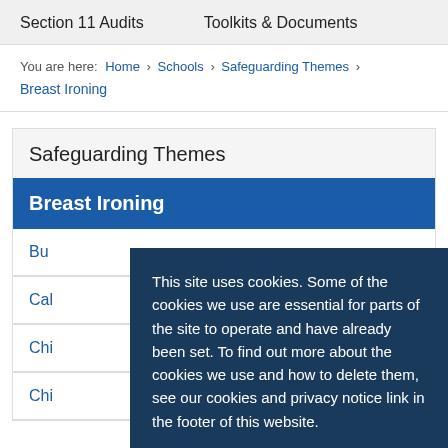Section 11 Audits    Toolkits & Documents
You are here: Home › Schools › Safeguarding Themes › Breast Ironing
Safeguarding Themes
Breast Ironing
Bu...
Cal...
Chi...
Chi...
This site uses cookies. Some of the cookies we use are essential for parts of the site to operate and have already been set. To find out more about the cookies we use and how to delete them, see our cookies and privacy notice link in the footer of this website.

Click to accept cookies